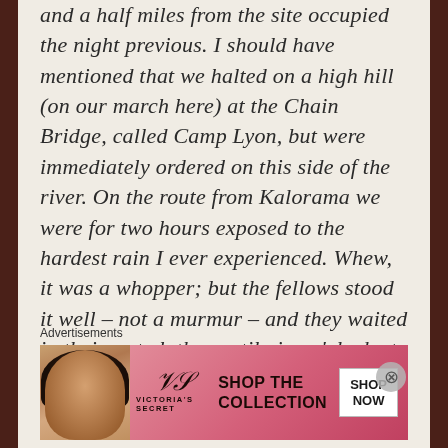and a half miles from the site occupied the night previous. I should have mentioned that we halted on a high hill (on our march here) at the Chain Bridge, called Camp Lyon, but were immediately ordered on this side of the river. On the route from Kalorama we were for two hours exposed to the hardest rain I ever experienced. Whew, it was a whopper; but the fellows stood it well – not a murmur – and they waited in their wet clothes until nine o'clock at night for their supper. Our Camp adjoins that of the N.Y. 79th
Advertisements
[Figure (other): Victoria's Secret advertisement banner with a woman's photo, Victoria's Secret logo, 'SHOP THE COLLECTION' text, and a 'SHOP NOW' button]